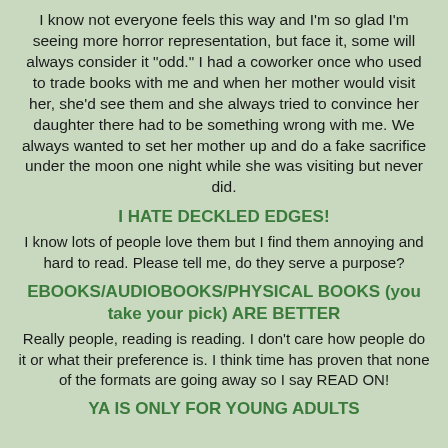I know not everyone feels this way and I'm so glad I'm seeing more horror representation, but face it, some will always consider it "odd."  I had a coworker once who used to trade books with me and when her mother would visit her, she'd see them and she always tried to convince her daughter there had to be something wrong with me.  We always wanted to set her mother up and do a fake sacrifice under the moon one night while she was visiting but never did.
I HATE DECKLED EDGES!
I know lots of people love them but I find them annoying and hard to read.  Please tell me, do they serve a purpose?
EBOOKS/AUDIOBOOKS/PHYSICAL BOOKS (you take your pick) ARE BETTER
Really people, reading is reading.  I don't care how people do it or what their preference is.  I think time has proven that none of the formats are going away so I say READ ON!
YA IS ONLY FOR YOUNG ADULTS